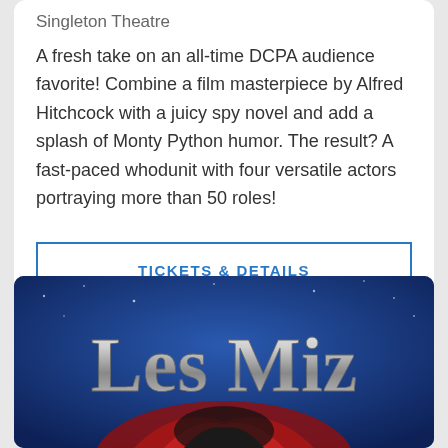Singleton Theatre
A fresh take on an all-time DCPA audience favorite! Combine a film masterpiece by Alfred Hitchcock with a juicy spy novel and add a splash of Monty Python humor. The result? A fast-paced whodunit with four versatile actors portraying more than 50 roles!
TICKETS & DETAILS
[Figure (illustration): Les Miz banner image with large stylized text 'Les Miz' on a dark blue background with a figure in red below]